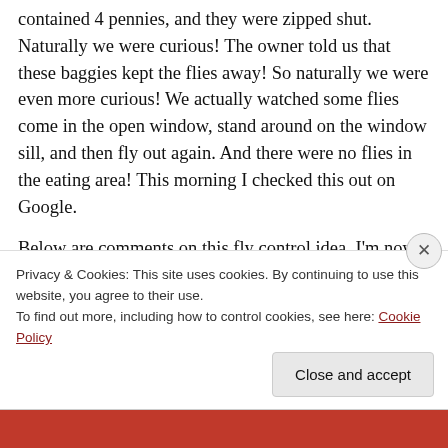contained 4 pennies, and they were zipped shut. Naturally we were curious! The owner told us that these baggies kept the flies away! So naturally we were even more curious! We actually watched some flies come in the open window, stand around on the window sill, and then fly out again. And there were no flies in the eating area! This morning I checked this out on Google.
Below are comments on this fly control idea. I'm now a believer!
Zip-lock water bags: #1 Says: I tried the zip lock bag and something else about it. The fly...
Privacy & Cookies: This site uses cookies. By continuing to use this website, you agree to their use.
To find out more, including how to control cookies, see here: Cookie Policy